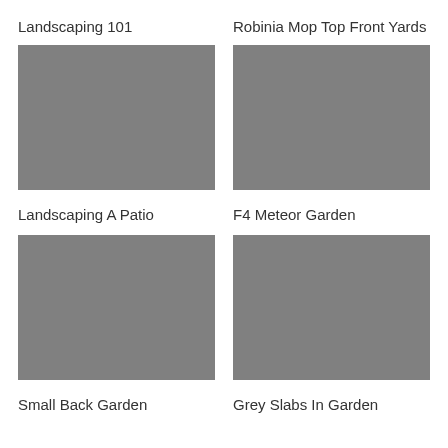Landscaping 101
Robinia Mop Top Front Yards
[Figure (photo): Grey placeholder image for Landscaping A Patio]
[Figure (photo): Grey placeholder image for F4 Meteor Garden]
Landscaping A Patio
F4 Meteor Garden
[Figure (photo): Grey placeholder image for Small Back Garden]
[Figure (photo): Grey placeholder image for Grey Slabs In Garden]
Small Back Garden
Grey Slabs In Garden